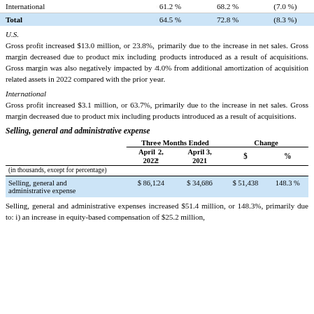|  | 61.2 % | 68.2 % | (7.0 %) |
| --- | --- | --- | --- |
| International | 61.2 % | 68.2 % | (7.0 %) |
| Total | 64.5 % | 72.8 % | (8.3 %) |
U.S.
Gross profit increased $13.0 million, or 23.8%, primarily due to the increase in net sales. Gross margin decreased due to product mix including products introduced as a result of acquisitions. Gross margin was also negatively impacted by 4.0% from additional amortization of acquisition related assets in 2022 compared with the prior year.
International
Gross profit increased $3.1 million, or 63.7%, primarily due to the increase in net sales. Gross margin decreased due to product mix including products introduced as a result of acquisitions.
Selling, general and administrative expense
| (in thousands, except for percentage) | April 2, 2022 | April 3, 2021 | $ | % |
| --- | --- | --- | --- | --- |
| Selling, general and administrative expense | $ 86,124 | $ 34,686 | $ 51,438 | 148.3 % |
Selling, general and administrative expenses increased $51.4 million, or 148.3%, primarily due to: i) an increase in equity-based compensation of $25.2 million,